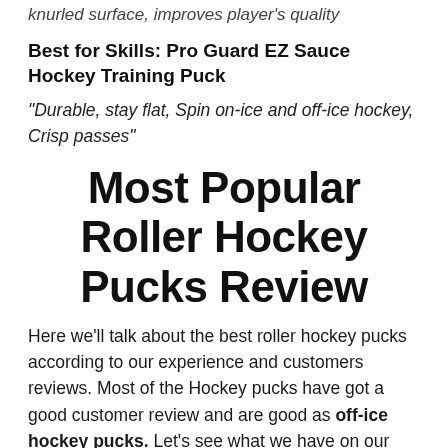knurled surface, improves player's quality
Best for Skills: Pro Guard EZ Sauce Hockey Training Puck
"Durable, stay flat, Spin on-ice and off-ice hockey, Crisp passes"
Most Popular Roller Hockey Pucks Review
Here we'll talk about the best roller hockey pucks according to our experience and customers reviews. Most of the Hockey pucks have got a good customer review and are good as off-ice hockey pucks. Let's see what we have on our list.